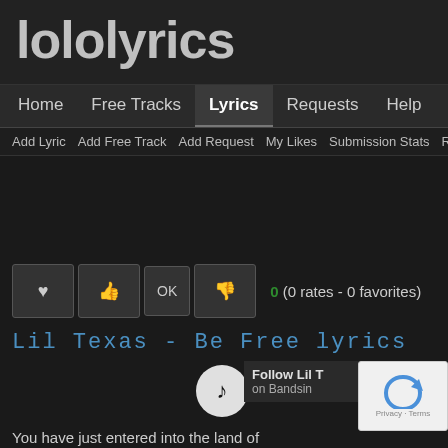lololyrics
Home  Free Tracks  Lyrics  Requests  Help  Sha
Add Lyric  Add Free Track  Add Request  My Likes  Submission Stats  Re
0 (0 rates - 0 favorites)
Lil Texas - Be Free lyrics
Follow Lil T... on Bandsin...
You have just entered into the land of
Fucking Hardcore